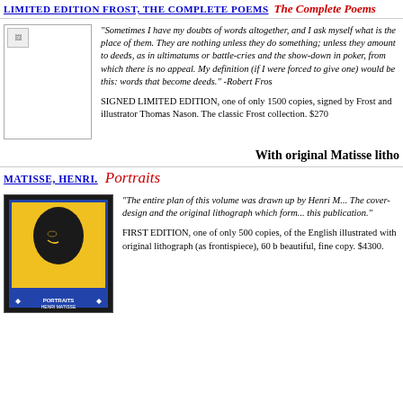LIMITED EDITION - The Complete Poems
[Figure (photo): Small broken image placeholder for book cover]
"Sometimes I have my doubts of words altogether, and I ask myself what is the place of them. They are nothing unless they do something; unless they amount to deeds, as in ultimatums or battle-cries. My definition of poetry (if I were forced to give one) would be this: words that become deeds." -Robert Frost
SIGNED LIMITED EDITION, one of only 1500 copies, signed by Frost and illustrator Thomas Nason. The classic Frost collection. $270
With original Matisse litho
MATISSE, HENRI. Portraits
[Figure (photo): Photo of Matisse Portraits book showing yellow cover with face illustration, with slipcase]
"The entire plan of this volume was drawn up by Henri Matisse himself. The cover-design and the original lithograph which forms the frontispiece are entirely his work, as is the choice of portraits reproduced in this publication."
FIRST EDITION, one of only 500 copies, of the English language edition, illustrated with original lithograph (as frontispiece), 60 b&w plates. A beautiful, fine copy. $4300.